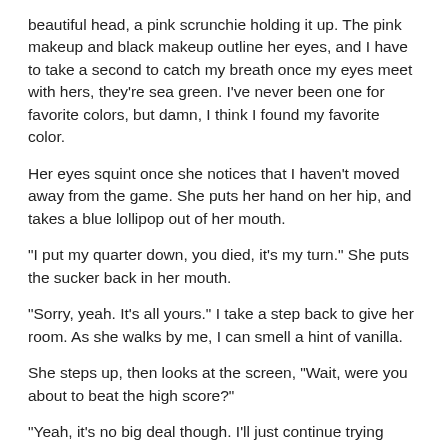beautiful head, a pink scrunchie holding it up. The pink makeup and black makeup outline her eyes, and I have to take a second to catch my breath once my eyes meet with hers, they're sea green. I've never been one for favorite colors, but damn, I think I found my favorite color.
Her eyes squint once she notices that I haven't moved away from the game. She puts her hand on her hip, and takes a blue lollipop out of her mouth.
"I put my quarter down, you died, it's my turn." She puts the sucker back in her mouth.
"Sorry, yeah. It's all yours." I take a step back to give her room. As she walks by me, I can smell a hint of vanilla.
She steps up, then looks at the screen, "Wait, were you about to beat the high score?"
"Yeah, it's no big deal though. I'll just continue trying once you're done. It's been my goal to get the high score. I really want to beat S.U.N."